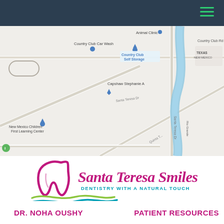Navigation bar with hamburger menu
[Figure (map): Google Maps screenshot showing Santa Teresa, NM area. Visible landmarks: Country Club Car Wash, Country Club Self Storage, Animal Clinic, Country Club Rd, Capshaw Stephanie A, Santa Teresa Dr, New Mexico Children First Learning Center, Rio Grande, Texas/New Mexico border label.]
[Figure (logo): Santa Teresa Smiles dental practice logo. Purple/magenta script text reading 'Santa Teresa Smiles' with a stylized tooth icon. Subtitle: 'DENTISTRY WITH A NATURAL TOUCH' in teal/green. Green and blue wave graphic below.]
DR. NOHA OUSHY
PATIENT RESOURCES